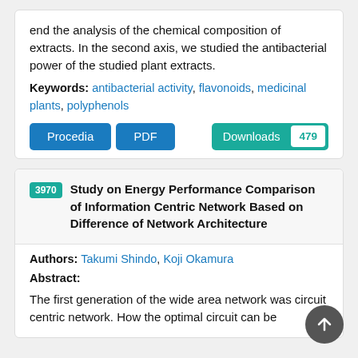end the analysis of the chemical composition of extracts. In the second axis, we studied the antibacterial power of the studied plant extracts.
Keywords: antibacterial activity, flavonoids, medicinal plants, polyphenols
3970 Study on Energy Performance Comparison of Information Centric Network Based on Difference of Network Architecture
Authors: Takumi Shindo, Koji Okamura
Abstract:
The first generation of the wide area network was circuit centric network. How the optimal circuit can be